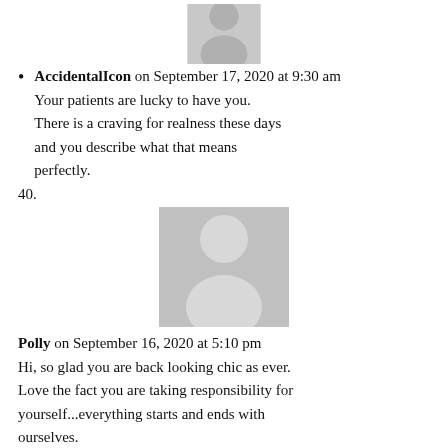[Figure (illustration): Grey placeholder avatar icon (person silhouette), partial visible at top]
AccidentalIcon on September 17, 2020 at 9:30 am
Your patients are lucky to have you. There is a craving for realness these days and you describe what that means perfectly.
40.
[Figure (illustration): Grey placeholder avatar icon (person silhouette), full square]
Polly on September 16, 2020 at 5:10 pm
Hi, so glad you are back looking chic as ever. Love the fact you are taking responsibility for yourself...everything starts and ends with ourselves.